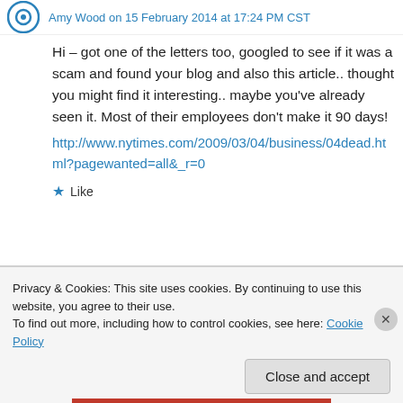Amy Wood on 15 February 2014 at 17:24 PM CST
Hi – got one of the letters too, googled to see if it was a scam and found your blog and also this article.. thought you might find it interesting.. maybe you've already seen it. Most of their employees don't make it 90 days!
http://www.nytimes.com/2009/03/04/business/04dead.html?pagewanted=all&_r=0
★ Like
Privacy & Cookies: This site uses cookies. By continuing to use this website, you agree to their use.
To find out more, including how to control cookies, see here: Cookie Policy
Close and accept